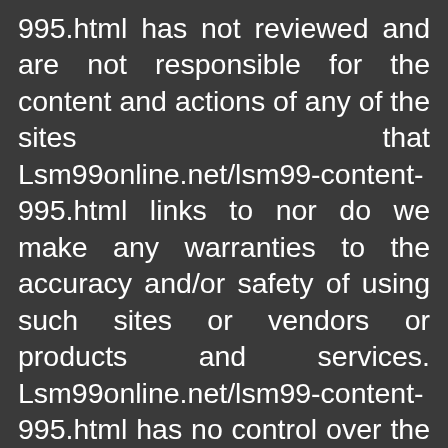995.html has not reviewed and are not responsible for the content and actions of any of the sites that Lsm99online.net/lsm99-content-995.html links to nor do we make any warranties to the accuracy and/or safety of using such sites or vendors or products and services. Lsm99online.net/lsm99-content-995.html has no control over the content or actions of such sites and/or vendors is not responsible nor does it represent or imply that it endorses such website or vendor. You're solely responsible for protecting yourself and technology